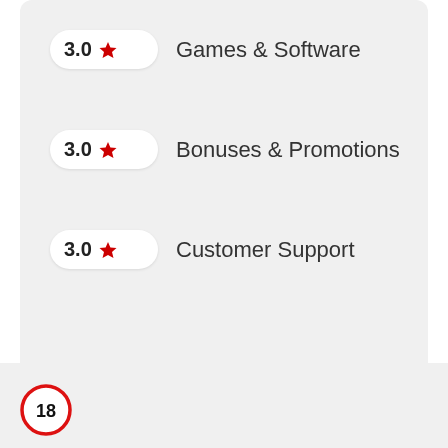3.0 ★ Games & Software
3.0 ★ Bonuses & Promotions
3.0 ★ Customer Support
[Figure (infographic): Age restriction badge showing '18' inside a red circle border, similar to a road speed limit sign]